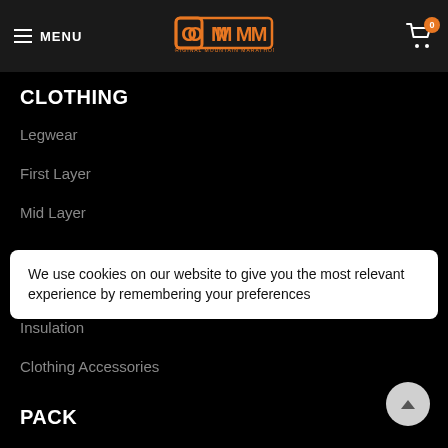MENU | OMM ORIGINAL MOUNTAIN MARATHON | 0
CLOTHING
Legwear
First Layer
Mid Layer
We use cookies on our website to give you the most relevant experience by remembering your preferences
Insulation
Clothing Accessories
PACK
WaistBelts
RaceVests
Backpacks